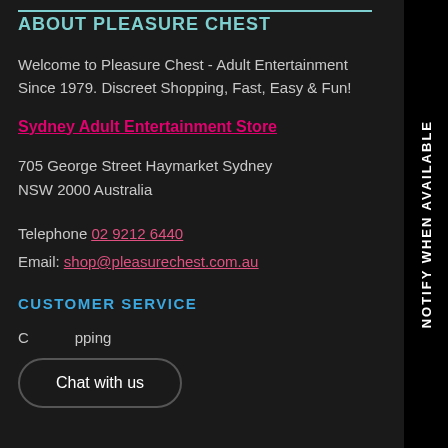ABOUT PLEASURE CHEST
Welcome to Pleasure Chest - Adult Entertainment Since 1979. Discreet Shopping, Fast, Easy & Fun!
Sydney Adult Entertainment Store
705 George Street Haymarket Sydney NSW 2000 Australia
Telephone 02 9212 6440
Email: shop@pleasurechest.com.au
CUSTOMER SERVICE
C...pping
Chat with us